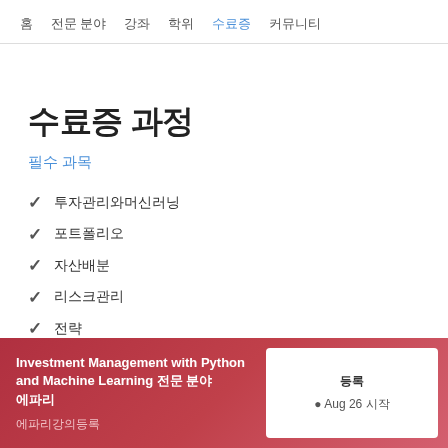홈  전문 분야  강좌  학위  수료증  커뮤니티
수료증 과정
필수 과목
투자관리와머신러닝
포트폴리오
자산배분
리스크관리
전략
Investment Management with Python and Machine Learning 전문 분야
에파리
등록  ● Aug 26 시작